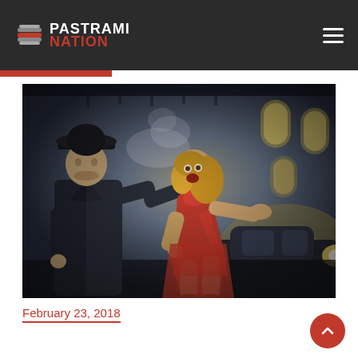PASTRAMI NATION
[Figure (illustration): Noir-style illustration showing a man in a fedora hat and trench coat pointing a revolver, with smoke rising, at a frightened blonde woman in a red dress running away. Background shows arched windows with bright light and a vintage car.]
February 23, 2018